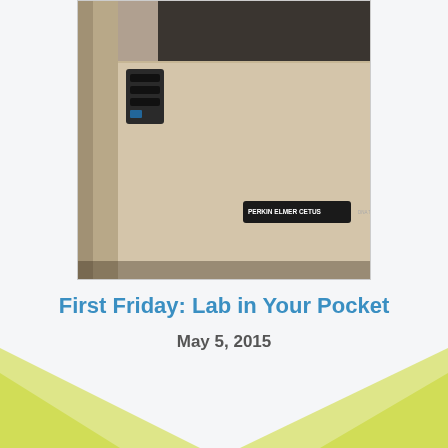[Figure (photo): A close-up photograph of a beige/tan laboratory instrument (PCR thermal cycler), showing a Perkin Elmer Cetus label on its front panel and a small control panel on the left side.]
First Friday: Lab in Your Pocket
May 5, 2015